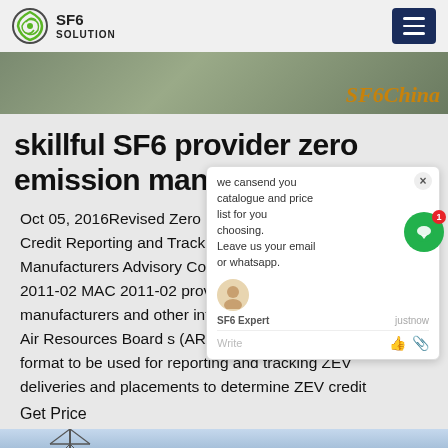SF6 SOLUTION
[Figure (photo): Banner image of a plant/outdoor scene with SF6China text overlay in orange]
skillful SF6 provider zero emission manufacture
Oct 05, 2016Revised Zero Emission Vehicle Credit Reporting and Tracking System Manufacturers Advisory Correspondence 2011-02 MAC 2011-02 provides vehicle manufacturers and other interested parties with the Air Resources Board s (ARB) mechanism and format to be used for reporting and tracking ZEV deliveries and placements to determine ZEV credit
Get Price
[Figure (photo): Bottom image showing electrical transmission towers against a blue sky]